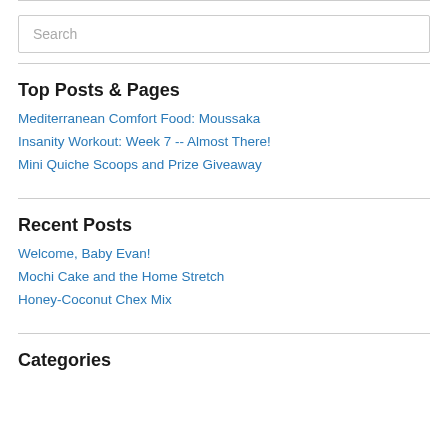[Figure (other): Search input box with placeholder text 'Search']
Top Posts & Pages
Mediterranean Comfort Food: Moussaka
Insanity Workout: Week 7 -- Almost There!
Mini Quiche Scoops and Prize Giveaway
Recent Posts
Welcome, Baby Evan!
Mochi Cake and the Home Stretch
Honey-Coconut Chex Mix
Categories